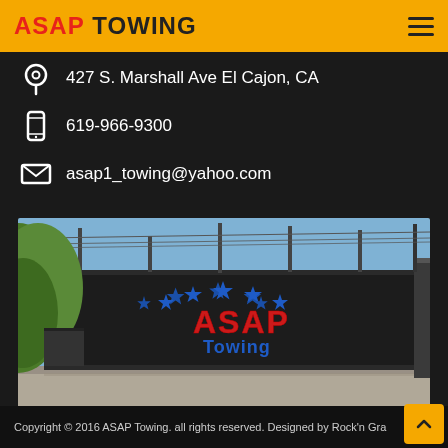ASAP TOWING
427 S. Marshall Ave El Cajon, CA
619-966-9300
asap1_towing@yahoo.com
[Figure (photo): Photo of ASAP Towing facility exterior: a large dark metal gate/fence with 'ASAP Towing' logo painted in red and blue letters with blue stars, green trees visible on the left, blue sky above with power lines]
Copyright © 2016 ASAP Towing. all rights reserved. Designed by Rock'n Gra